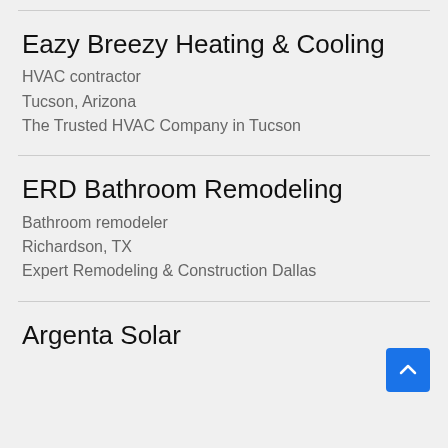Eazy Breezy Heating & Cooling
HVAC contractor
Tucson, Arizona
The Trusted HVAC Company in Tucson
ERD Bathroom Remodeling
Bathroom remodeler
Richardson, TX
Expert Remodeling & Construction Dallas
Argenta Solar